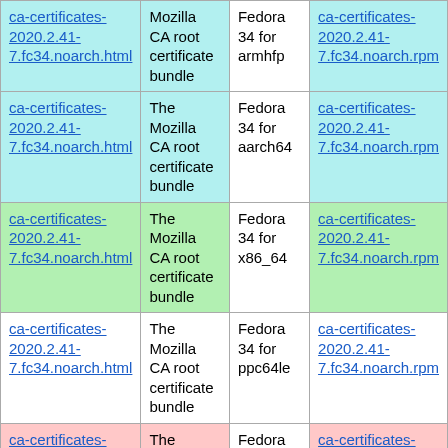| ca-certificates-2020.2.41-7.fc34.noarch.html | Mozilla CA root certificate bundle | Fedora 34 for armhfp | ca-certificates-2020.2.41-7.fc34.noarch.rpm |
| ca-certificates-2020.2.41-7.fc34.noarch.html | The Mozilla CA root certificate bundle | Fedora 34 for aarch64 | ca-certificates-2020.2.41-7.fc34.noarch.rpm |
| ca-certificates-2020.2.41-7.fc34.noarch.html | The Mozilla CA root certificate bundle | Fedora 34 for x86_64 | ca-certificates-2020.2.41-7.fc34.noarch.rpm |
| ca-certificates-2020.2.41-7.fc34.noarch.html | The Mozilla CA root certificate bundle | Fedora 34 for ppc64le | ca-certificates-2020.2.41-7.fc34.noarch.rpm |
| ca-certificates-2020.2.41-7.fc34.noarch.html | The Mozilla CA root certificate bundle | Fedora 34 for s390x | ca-certificates-2020.2.41-7.fc34.noarch.rpm |